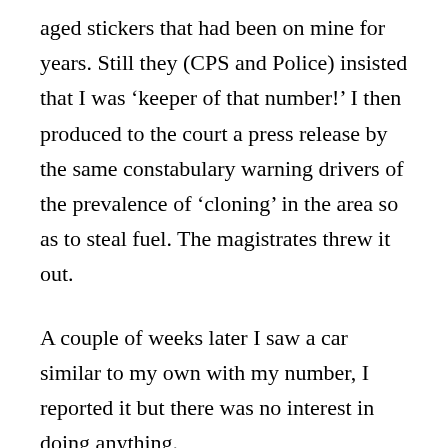aged stickers that had been on mine for years. Still they (CPS and Police) insisted that I was ‘keeper of that number!’ I then produced to the court a press release by the same constabulary warning drivers of the prevalence of ‘cloning’ in the area so as to steal fuel. The magistrates threw it out.
A couple of weeks later I saw a car similar to my own with my number, I reported it but there was no interest in doing anything.
I agree with others, this is clearly a money grabbing exercise in which drivers have to work